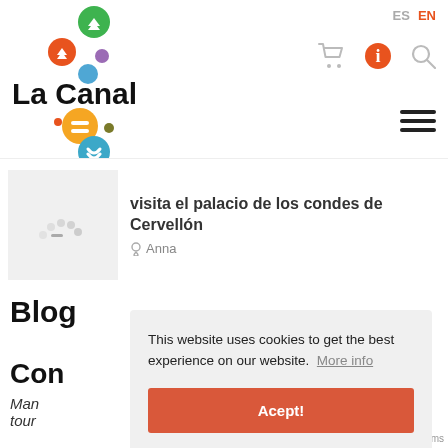[Figure (logo): La Canal logo with colorful circular icons (green, orange, blue, purple, yellow dots) arranged vertically beside bold 'La Canal' text]
ES  EN
Visita el Palacio de los Condes de Cervellón
Anna
Blog
Con
Man tour
This website uses cookies to get the best experience on our website.  More info
Acept!